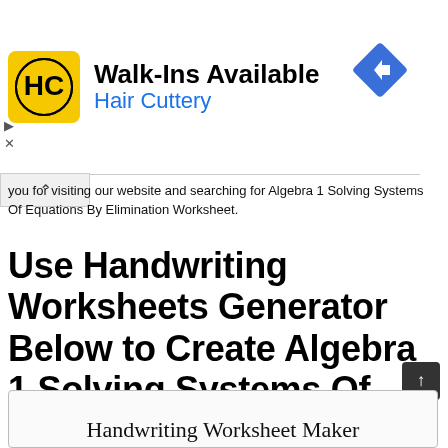[Figure (other): Advertisement banner for Hair Cuttery with yellow logo, 'Walk-Ins Available' heading, and blue 'Hair Cuttery' subheading, with a blue diamond turn sign icon on the right.]
you for visiting our website and searching for Algebra 1 Solving Systems Of Equations By Elimination Worksheet.
Use Handwriting Worksheets Generator Below to Create Algebra 1 Solving Systems Of Equations By Elimination Worksheet
Handwriting Worksheet Maker